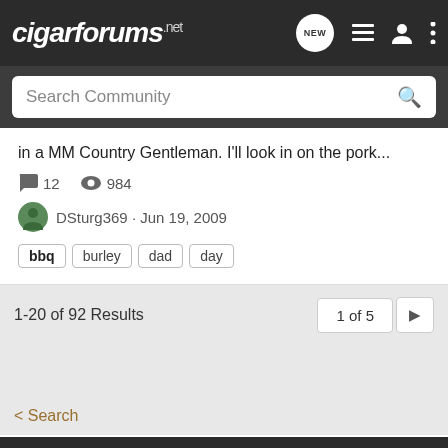cigarforums.net
Search Community
in a MM Country Gentleman. I'll look in on the pork...
12   984   DSturg369 · Jun 19, 2009
bbq   burley   dad   day
1-20 of 92 Results
< Search
Home   About Us   Terms of Use   Privacy Policy   Help   Business Directory   Contact Us   |   Grow Your Business